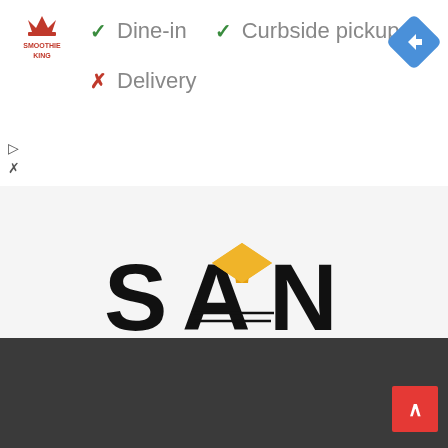[Figure (logo): Smoothie King brand logo, red crown and text]
✓ Dine-in
✓ Curbside pickup
✗ Delivery
[Figure (logo): Blue diamond Google Maps navigation icon with right-turn arrow]
[Figure (logo): SAN - Studyabroadnations.com logo with yellow graduation cap atop the A, open book as middle of A]
Studyabroadnations.com